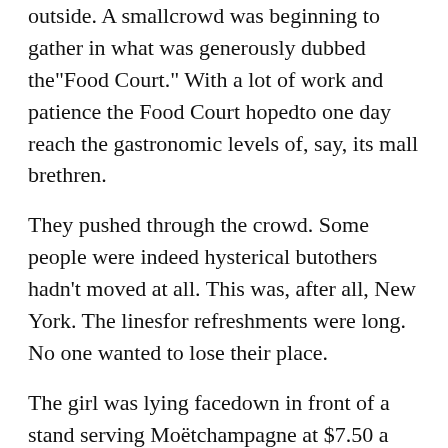outside. A smallcrowd was beginning to gather in what was generously dubbed the"Food Court." With a lot of work and patience the Food Court hopedto one day reach the gastronomic levels of, say, its mall brethren.
They pushed through the crowd. Some people were indeed hysterical butothers hadn't moved at all. This was, after all, New York. The linesfor refreshments were long. No one wanted to lose their place.
The girl was lying facedown in front of a stand serving Moëtchampagne at $7.50 a glass. Myron recognized her immediately, evenbefore he bent down and turned her over. But when he saw her face,when he saw the icy blue eyes stare back at him in a final,unbreakable death gaze, his heart plummeted. He looked back at Win.Win, as usual,